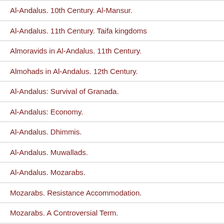Al-Andalus. 10th Century. Al-Mansur.
Al-Andalus. 11th Century. Taifa kingdoms
Almoravids in Al-Andalus. 11th Century.
Almohads in Al-Andalus. 12th Century.
Al-Andalus: Survival of Granada.
Al-Andalus: Economy.
Al-Andalus. Dhimmis.
Al-Andalus. Muwallads.
Al-Andalus. Mozarabs.
Mozarabs. Resistance Accommodation.
Mozarabs. A Controversial Term.
Mudejars. From Survival to Conversion.